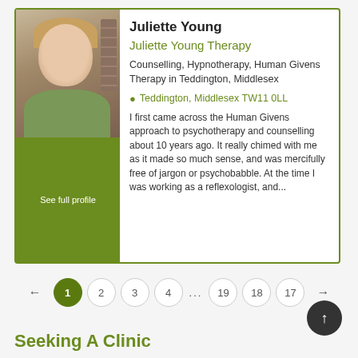[Figure (photo): Profile photo of Juliette Young, a woman with short blonde hair, resting her chin on her hand, with bookshelves in the background]
Juliette Young
Juliette Young Therapy
Counselling, Hypnotherapy, Human Givens Therapy in Teddington, Middlesex
Teddington, Middlesex TW11 0LL
I first came across the Human Givens approach to psychotherapy and counselling about 10 years ago. It really chimed with me as it made so much sense, and was mercifully free of jargon or psychobabble. At the time I was working as a reflexologist, and...
See full profile
← 1 2 3 4 ... 19 18 17 →
Seeking A Clinic